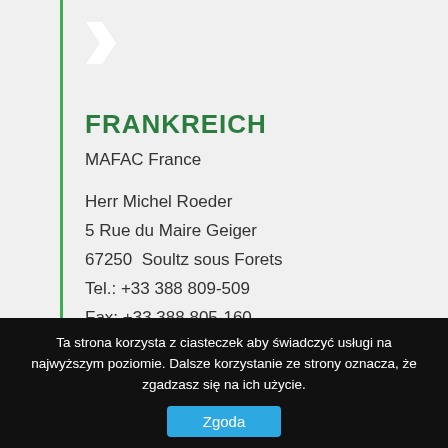FRANKREICH
MAFAC France
Herr Michel Roeder
5 Rue du Maire Geiger
67250  Soultz sous Forets
Tel.: +33 388 809-509
Fax: +33 388 805-160
E-Mail: commercial@mafac.fr
Ta strona korzysta z ciasteczek aby świadczyć usługi na najwyższym poziomie. Dalsze korzystanie ze strony oznacza, że zgadzasz się na ich użycie.